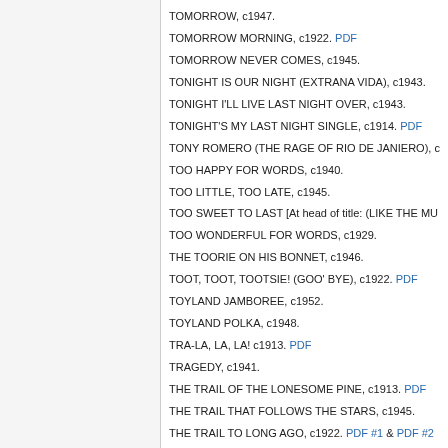TOMORROW, c1947.
TOMORROW MORNING, c1922. PDF
TOMORROW NEVER COMES, c1945.
TONIGHT IS OUR NIGHT (EXTRANA VIDA), c1943.
TONIGHT I'LL LIVE LAST NIGHT OVER, c1943.
TONIGHT'S MY LAST NIGHT SINGLE, c1914. PDF
TONY ROMERO (THE RAGE OF RIO DE JANIERO), c
TOO HAPPY FOR WORDS, c1940.
TOO LITTLE, TOO LATE, c1945.
TOO SWEET TO LAST [At head of title: (LIKE THE MU
TOO WONDERFUL FOR WORDS, c1929.
THE TOORIE ON HIS BONNET, c1946.
TOOT, TOOT, TOOTSIE! (GOO' BYE), c1922. PDF
TOYLAND JAMBOREE, c1952.
TOYLAND POLKA, c1948.
TRA-LA, LA, LA! c1913. PDF
TRAGEDY, c1941.
THE TRAIL OF THE LONESOME PINE, c1913. PDF
THE TRAIL THAT FOLLOWS THE STARS, c1945.
THE TRAIL TO LONG AGO, c1922. PDF #1 & PDF #2
TRAIN WHISTLE BLUES, c1931.